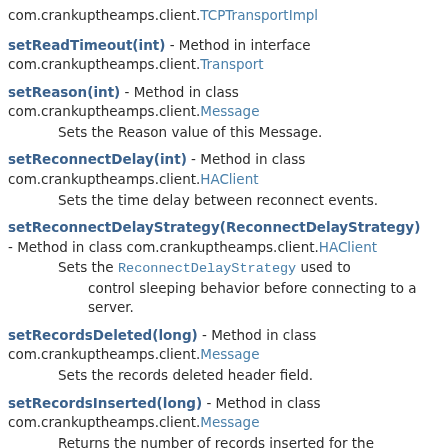com.crankuptheamps.client.TCPTransportImpl
setReadTimeout(int) - Method in interface com.crankuptheamps.client.Transport
setReason(int) - Method in class com.crankuptheamps.client.Message
  Sets the Reason value of this Message.
setReconnectDelay(int) - Method in class com.crankuptheamps.client.HAClient
  Sets the time delay between reconnect events.
setReconnectDelayStrategy(ReconnectDelayStrategy) - Method in class com.crankuptheamps.client.HAClient
  Sets the ReconnectDelayStrategy used to control sleeping behavior before connecting to a server.
setRecordsDeleted(long) - Method in class com.crankuptheamps.client.Message
  Sets the records deleted header field.
setRecordsInserted(long) - Method in class com.crankuptheamps.client.Message
  Returns the number of records inserted for the command that this Message was produced in response to.
setRecordsReturned(long) - Method in class com.crankuptheamps.client.Message